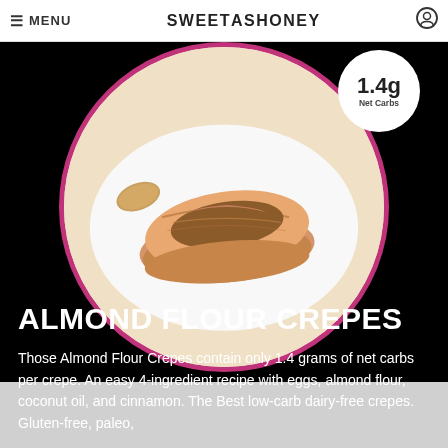MENU | SWEETASHONEY
[Figure (photo): Circular photo with pink/magenta border showing rolled almond flour crepes on a white plate with almonds, against a light background. A white circular badge in the top-right shows '1.4g Net Carbs'.]
ALMOND FLOUR CREPES
Those Almond Flour Crepes contain only 1.4 grams of net carbs per crepe. An easy 4-ingredient recipe with eggs, almond flour, coconut oil, and cinnamon. The Best low-carb dairy-free crepes. Gluten-free, paleo,